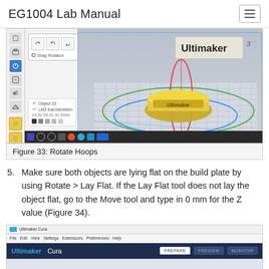EG1004 Lab Manual
[Figure (screenshot): Screenshot of Ultimaker Cura 3D printing software showing rotate hoops (red, green, blue ellipses) around a yellow 3D object on the build plate, with a toolbar on the left and a Snap Rotation panel open.]
Figure 33: Rotate Hoops
Make sure both objects are lying flat on the build plate by using Rotate > Lay Flat. If the Lay Flat tool does not lay the object flat, go to the Move tool and type in 0 mm for the Z value (Figure 34).
[Figure (screenshot): Screenshot of Ultimaker Cura software interface showing the top navigation bar with File, Edit, View, Settings, Extensions, Preferences, Help menus, and PREPARE, PREVIEW, MONITOR tabs.]